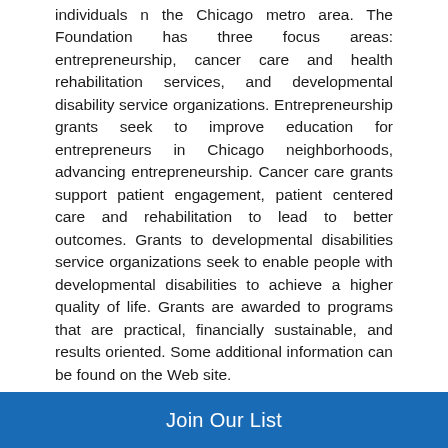individuals n the Chicago metro area. The Foundation has three focus areas: entrepreneurship, cancer care and health rehabilitation services, and developmental disability service organizations. Entrepreneurship grants seek to improve education for entrepreneurs in Chicago neighborhoods, advancing entrepreneurship. Cancer care grants support patient engagement, patient centered care and rehabilitation to lead to better outcomes. Grants to developmental disabilities service organizations seek to enable people with developmental disabilities to achieve a higher quality of life. Grants are awarded to programs that are practical, financially sustainable, and results oriented. Some additional information can be found on the Web site.
Contact Information
Contact information and additional details are available to members of the Society.
Additional Grants
Funding Alert is intended to highlight key grant opportunities for nonprofit leaders with limited time for research. For a more
Join Our List